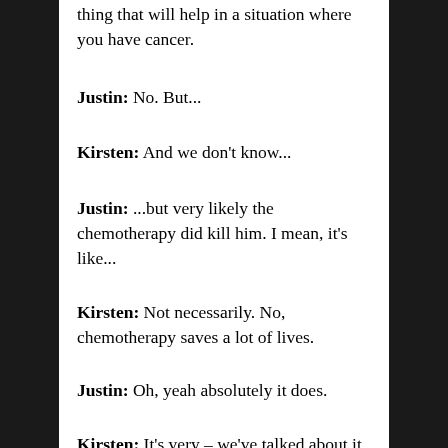thing that will help in a situation where you have cancer.
Justin: No. But...
Kirsten: And we don't know...
Justin: ...but very likely the chemotherapy did kill him. I mean, it's like...
Kirsten: Not necessarily. No, chemotherapy saves a lot of lives.
Justin: Oh, yeah absolutely it does.
Kirsten: It's very – we've talked about it before. It's a blunt instrument, it is a